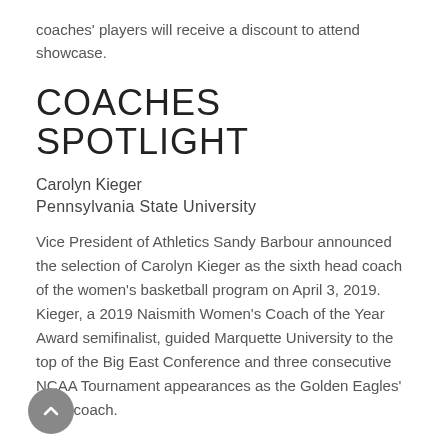coaches' players will receive a discount to attend showcase.
COACHES SPOTLIGHT
Carolyn Kieger
Pennsylvania State University
Vice President of Athletics Sandy Barbour announced the selection of Carolyn Kieger as the sixth head coach of the women's basketball program on April 3, 2019. Kieger, a 2019 Naismith Women's Coach of the Year Award semifinalist, guided Marquette University to the top of the Big East Conference and three consecutive NCAA Tournament appearances as the Golden Eagles' head coach.